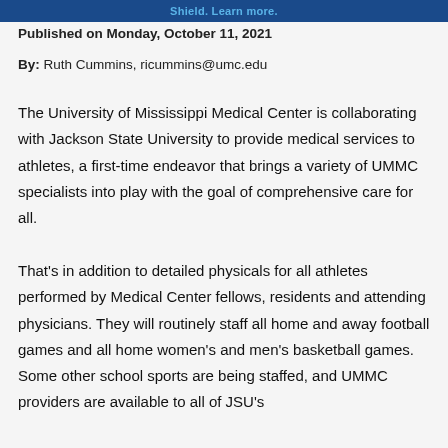Shield. Learn more.
Published on Monday, October 11, 2021
By: Ruth Cummins, ricummins@umc.edu
The University of Mississippi Medical Center is collaborating with Jackson State University to provide medical services to athletes, a first-time endeavor that brings a variety of UMMC specialists into play with the goal of comprehensive care for all.
That's in addition to detailed physicals for all athletes performed by Medical Center fellows, residents and attending physicians. They will routinely staff all home and away football games and all home women's and men's basketball games. Some other school sports are being staffed, and UMMC providers are available to all of JSU's 475...